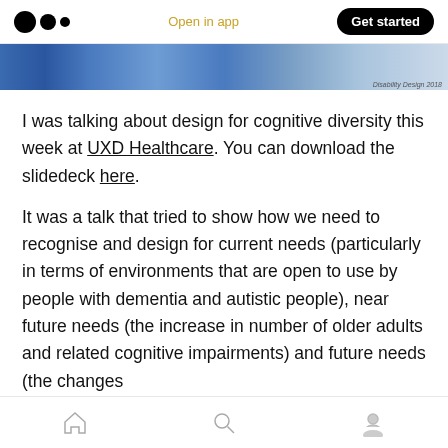Open in app | Get started
[Figure (photo): Blue banner image with geometric/abstract pattern, with small credit text reading 'Disability Design 2018' in lower right]
I was talking about design for cognitive diversity this week at UXD Healthcare. You can download the slidedeck here.
It was a talk that tried to show how we need to recognise and design for current needs (particularly in terms of environments that are open to use by people with dementia and autistic people), near future needs (the increase in number of older adults and related cognitive impairments) and future needs (the changes
Home | Search | Profile